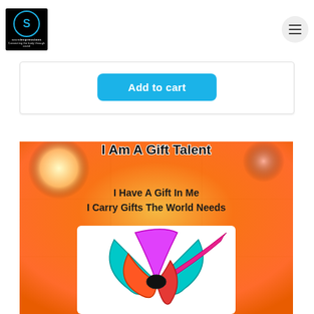Sound Expressions logo and navigation menu
Add to cart
[Figure (illustration): Product image for 'I Am A Gift' talent development card. Orange gradient background with text 'I Have A Gift In Me / I Carry Gifts The World Needs' and a colorful decorative gift bow illustration at the bottom.]